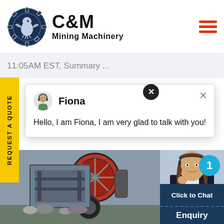[Figure (logo): C&M Mining Machinery logo with circular eagle/gear emblem and bold text]
11:05AM EST, Summary ...
REQUEST A QUOTE
[Figure (screenshot): Chat popup with agent Fiona avatar and message: Hello, I am Fiona, I am very glad to talk with you!]
[Figure (photo): Industrial mining machinery/crusher equipment photo]
[Figure (photo): Customer service agent woman with headset]
Click to Chat
Enquiry